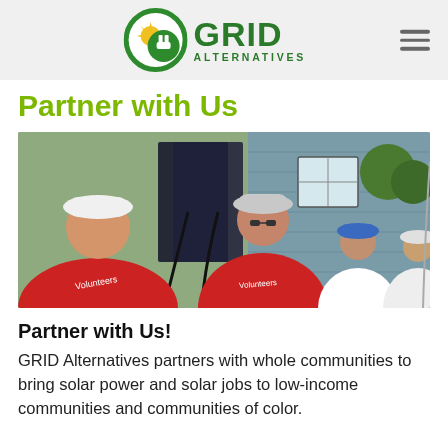GRID ALTERNATIVES
Partner with Us
[Figure (photo): Four volunteers wearing red shirts and white hard hats installing solar panels on the side of a building outdoors.]
Partner with Us!
GRID Alternatives partners with whole communities to bring solar power and solar jobs to low-income communities and communities of color.